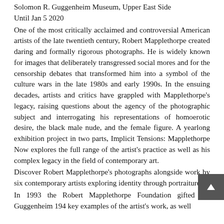Solomon R. Guggenheim Museum, Upper East Side
Until Jan 5 2020
One of the most critically acclaimed and controversial American artists of the late twentieth century, Robert Mapplethorpe created daring and formally rigorous photographs. He is widely known for images that deliberately transgressed social mores and for the censorship debates that transformed him into a symbol of the culture wars in the late 1980s and early 1990s. In the ensuing decades, artists and critics have grappled with Mapplethorpe's legacy, raising questions about the agency of the photographic subject and interrogating his representations of homoerotic desire, the black male nude, and the female figure. A yearlong exhibition project in two parts, Implicit Tensions: Mapplethorpe Now explores the full range of the artist's practice as well as his complex legacy in the field of contemporary art.
Discover Robert Mapplethorpe's photographs alongside work by six contemporary artists exploring identity through portraiture.
In 1993 the Robert Mapplethorpe Foundation gifted the Guggenheim 194 key examples of the artist's work, as well